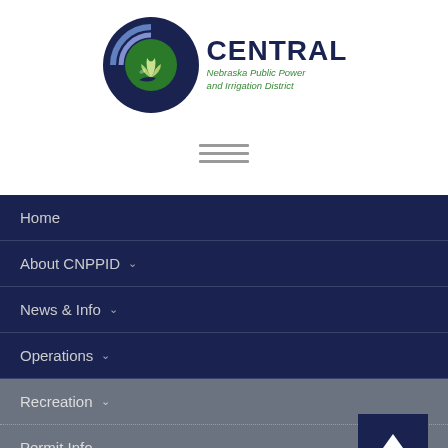[Figure (logo): Central Nebraska Public Power and Irrigation District logo — circular emblem with blue swirls and green wheat/water motif, beside bold navy text 'CENTRAL' and green text 'Nebraska Public Power and Irrigation District']
Home
About CNPPID ∨
News & Info ∨
Operations ∨
Recreation ∨
Permit Info ∨